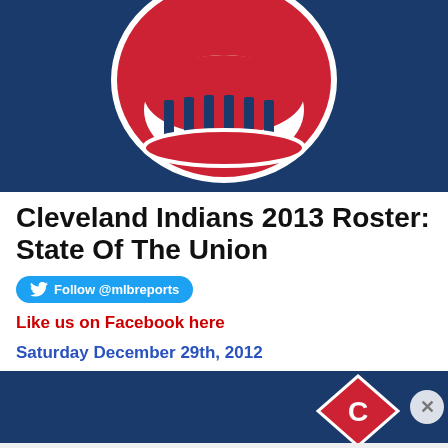[Figure (photo): Cleveland Indians Chief Wahoo logo on dark navy blue background — smiling face with red skin and white teeth visible]
Cleveland Indians 2013 Roster: State Of The Union
Follow @mlbreports
Like us on Facebook here
Saturday December 29th, 2012
[Figure (photo): Second Cleveland Indians logo image on navy blue background, partially visible]
Advertisements
[Figure (photo): ULTA Beauty advertisement banner showing makeup and beauty imagery with SHOP NOW call to action]